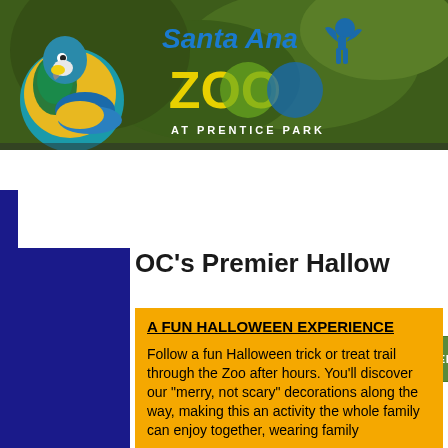[Figure (logo): Santa Ana Zoo at Prentice Park logo/banner with parrot, monkey silhouettes and colorful text on green leafy background]
| HOME | VISITOR INFORMATION | CONSERVATION | NEWS |
| --- | --- | --- | --- |
OC's Premier Hallow
A FUN HALLOWEEN EXPERIENCE
Follow a fun Halloween trick or treat trail through the Zoo after hours. You'll discover our "merry, not scary" decorations along the way, making this an activity the whole family can enjoy together, wearing family